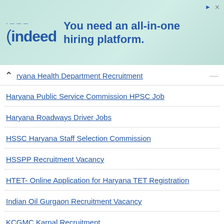[Figure (screenshot): Indeed hiring platform advertisement banner with teal/mint background, Indeed logo on left, text 'You need an all-in-one hiring platform.' in blue]
ryana Health Department Recruitment
Haryana Public Service Commission HPSC Job
Haryana Roadways Driver Jobs
HSSC Haryana Staff Selection Commission
HSSPP Recruitment Vacancy
HTET- Online Application for Haryana TET Registration
Indian Oil Gurgaon Recruitment Vacancy
KCGMC Karnal Recruitment
KGBV Haryana Recruitment Vacancy